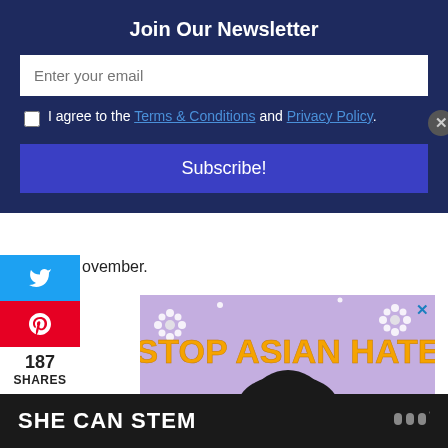Join Our Newsletter
Enter your email
I agree to the Terms & Conditions and Privacy Policy.
Subscribe!
ovember.
[Figure (illustration): Stop Asian Hate advertisement with an illustrated Asian woman surrounded by flowers on a purple background]
187 SHARES
SHE CAN STEM